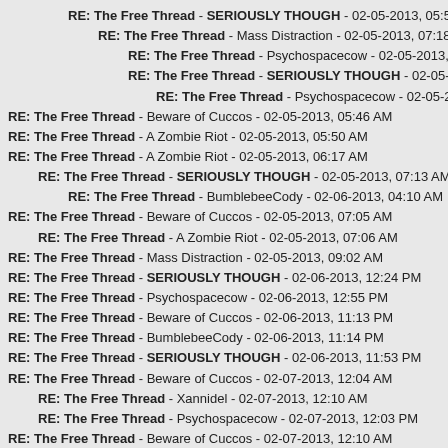RE: The Free Thread - SERIOUSLY THOUGH - 02-05-2013, 05:51 AM
RE: The Free Thread - Mass Distraction - 02-05-2013, 07:18 AM
RE: The Free Thread - Psychospacecow - 02-05-2013, 08:28 AM
RE: The Free Thread - SERIOUSLY THOUGH - 02-05-2013, 09:53 AM
RE: The Free Thread - Psychospacecow - 02-05-2013, 11:01 AM
RE: The Free Thread - Beware of Cuccos - 02-05-2013, 05:46 AM
RE: The Free Thread - A Zombie Riot - 02-05-2013, 05:50 AM
RE: The Free Thread - A Zombie Riot - 02-05-2013, 06:17 AM
RE: The Free Thread - SERIOUSLY THOUGH - 02-05-2013, 07:13 AM
RE: The Free Thread - BumblebeeCody - 02-06-2013, 04:10 AM
RE: The Free Thread - Beware of Cuccos - 02-05-2013, 07:05 AM
RE: The Free Thread - A Zombie Riot - 02-05-2013, 07:06 AM
RE: The Free Thread - Mass Distraction - 02-05-2013, 09:02 AM
RE: The Free Thread - SERIOUSLY THOUGH - 02-06-2013, 12:24 PM
RE: The Free Thread - Psychospacecow - 02-06-2013, 12:55 PM
RE: The Free Thread - Beware of Cuccos - 02-06-2013, 11:13 PM
RE: The Free Thread - BumblebeeCody - 02-06-2013, 11:14 PM
RE: The Free Thread - SERIOUSLY THOUGH - 02-06-2013, 11:53 PM
RE: The Free Thread - Beware of Cuccos - 02-07-2013, 12:04 AM
RE: The Free Thread - Xannidel - 02-07-2013, 12:10 AM
RE: The Free Thread - Psychospacecow - 02-07-2013, 12:03 PM
RE: The Free Thread - Beware of Cuccos - 02-07-2013, 12:10 AM
RE: The Free Thread - A Zombie Riot - 02-07-2013, 03:12 AM
RE: The Free Thread - Beware of Cuccos - 02-07-2013, 04:58 AM
RE: The Free Thread - A Zombie Riot - 02-07-2013, 05:13 AM